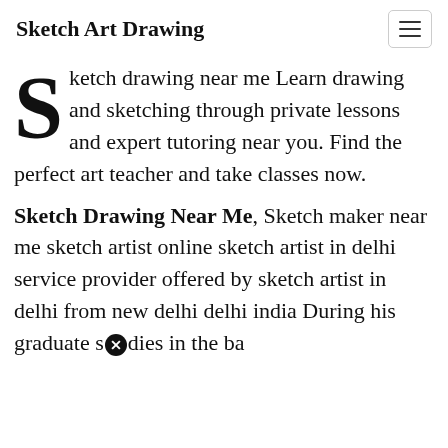Sketch Art Drawing
Sketch drawing near me Learn drawing and sketching through private lessons and expert tutoring near you. Find the perfect art teacher and take classes now.
Sketch Drawing Near Me, Sketch maker near me sketch artist online sketch artist in delhi service provider offered by sketch artist in delhi from new delhi delhi india During his graduate studies in the ba